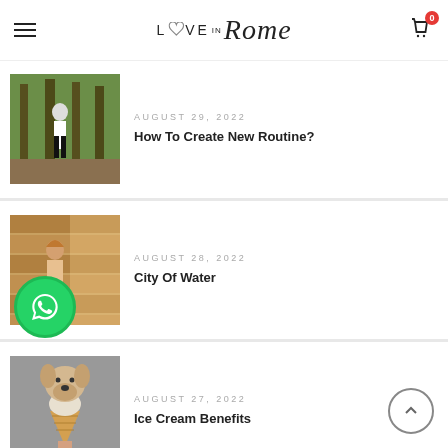LOVE IN Rome
[Figure (photo): Woman posing in a forest among trees, wearing white top and black pants]
AUGUST 29, 2022
How To Create New Routine?
[Figure (photo): Woman in a wooden interior, warm tones]
AUGUST 28, 2022
City Of Water
[Figure (photo): A dog eating ice cream cone held by a person]
AUGUST 27, 2022
Ice Cream Benefits